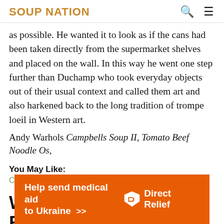SOUP NATION
as possible. He wanted it to look as if the cans had been taken directly from the supermarket shelves and placed on the wall. In this way he went one step further than Duchamp who took everyday objects out of their usual context and called them art and also harkened back to the long tradition of trompe loeil in Western art.
Andy Warhols Campbells Soup II, Tomato Beef Noodle Os,
You May Like:
Crockpot Cheeseburger Soup With Frozen Hash Browns
Why Did The Paintings Become
[Figure (other): Orange advertisement banner reading 'Help send medical aid to Ukraine >>' with Direct Relief logo on the right]